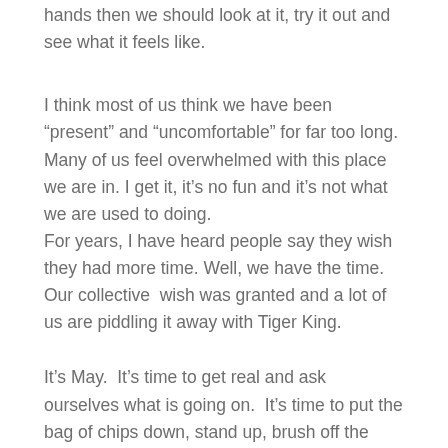hands then we should look at it, try it out and see what it feels like.
I think most of us think we have been “present” and “uncomfortable” for far too long. Many of us feel overwhelmed with this place we are in. I get it, it’s no fun and it’s not what we are used to doing. For years, I have heard people say they wish they had more time. Well, we have the time. Our collective wish was granted and a lot of us are piddling it away with Tiger King.
It’s May. It’s time to get real and ask ourselves what is going on. It’s time to put the bag of chips down, stand up, brush off the crumbs and take action. It’s time to dive into this idea of being uncomfortable and figure